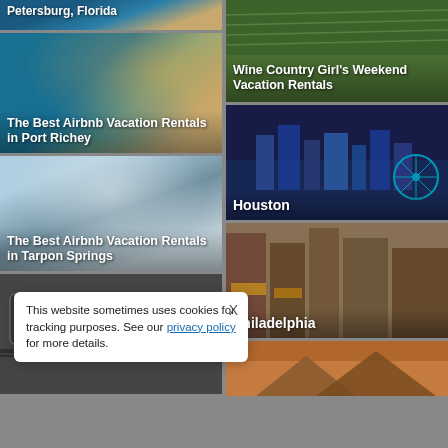[Figure (photo): Aerial beach/coastline image with text 'Petersburg, Florida']
[Figure (photo): Aerial turquoise water and sandy beach - The Best Airbnb Vacation Rentals in Port Richey]
[Figure (photo): Marina with sailboats - The Best Airbnb Vacation Rentals in Tarpon Springs]
[Figure (photo): Blurry subway train in motion - bottom portion cut off]
[Figure (photo): Vineyard rows with green vines - Wine Country Girl's Weekend Vacation Rentals]
[Figure (photo): Houston skyline at night with Ferris wheel]
[Figure (photo): Philadelphia street with storefronts]
[Figure (photo): Desert/mountain landscape at sunset - partially visible]
This website sometimes uses cookies for tracking purposes. See our privacy policy for more details.